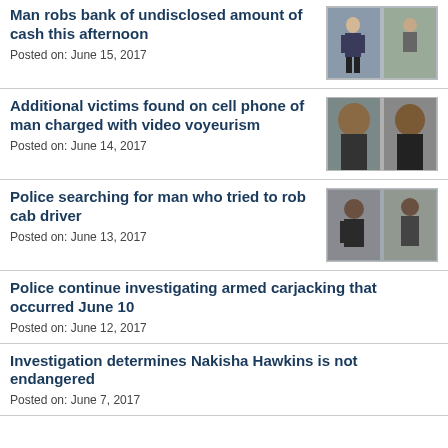Man robs bank of undisclosed amount of cash this afternoon
Posted on: June 15, 2017
[Figure (photo): Two surveillance photos of a bank robbery suspect]
Additional victims found on cell phone of man charged with video voyeurism
Posted on: June 14, 2017
[Figure (photo): Two photos of a man charged with video voyeurism]
Police searching for man who tried to rob cab driver
Posted on: June 13, 2017
[Figure (photo): Two surveillance photos of a robbery suspect]
Police continue investigating armed carjacking that occurred June 10
Posted on: June 12, 2017
Investigation determines Nakisha Hawkins is not endangered
Posted on: June 7, 2017